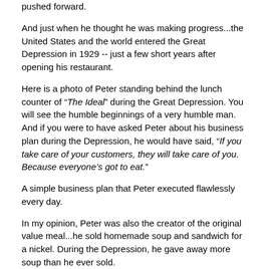pushed forward.
And just when he thought he was making progress...the United States and the world entered the Great Depression in 1929 -- just a few short years after opening his restaurant.
Here is a photo of Peter standing behind the lunch counter of “The Ideal” during the Great Depression. You will see the humble beginnings of a very humble man. And if you were to have asked Peter about his business plan during the Depression, he would have said, “If you take care of your customers, they will take care of you. Because everyone’s got to eat.”
A simple business plan that Peter executed flawlessly every day.
In my opinion, Peter was also the creator of the original value meal...he sold homemade soup and sandwich for a nickel. During the Depression, he gave away more soup than he ever sold.
And yet, the story of Peter doesn’t end there.
Peter married the woman of his dreams in Julia Katsaris -- and together -- they ran the restaurant and raised four wonderful kids along the way.
In their kids, they instilled their lessons of Family Comes First...you take care of your customers...and all of the other business lessons they had learned through 42 years in the restaurant business.
And when Peter and Julia retired, they shifted their attention toward their 10